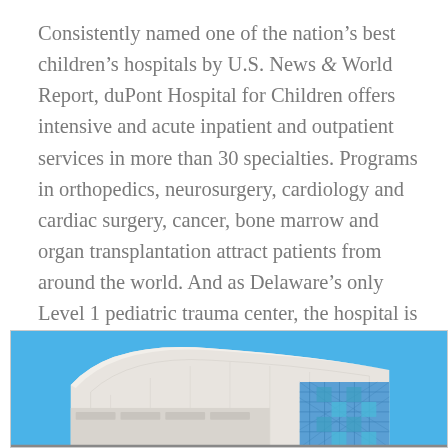Consistently named one of the nation's best children's hospitals by U.S. News & World Report, duPont Hospital for Children offers intensive and acute inpatient and outpatient services in more than 30 specialties. Programs in orthopedics, neurosurgery, cardiology and cardiac surgery, cancer, bone marrow and organ transplantation attract patients from around the world. And as Delaware's only Level 1 pediatric trauma center, the hospital is equipped to handle any emergency.
[Figure (photo): Exterior photo of duPont Hospital for Children building against a clear blue sky, showing a modern curved architectural facade with white/gray cladding and a section with a blue diamond-pattern glass wall.]